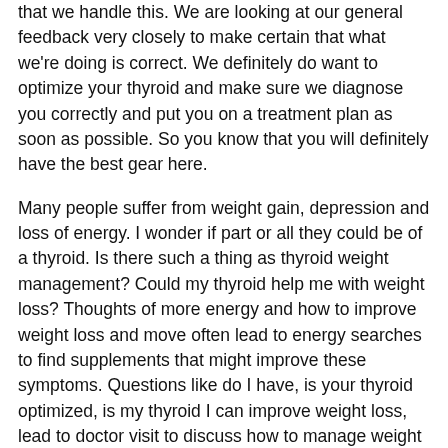that we handle this. We are looking at our general feedback very closely to make certain that what we're doing is correct. We definitely do want to optimize your thyroid and make sure we diagnose you correctly and put you on a treatment plan as soon as possible. So you know that you will definitely have the best gear here.
Many people suffer from weight gain, depression and loss of energy. I wonder if part or all they could be of a thyroid. Is there such a thing as thyroid weight management? Could my thyroid help me with weight loss? Thoughts of more energy and how to improve weight loss and move often lead to energy searches to find supplements that might improve these symptoms. Questions like do I have, is your thyroid optimized, is my thyroid I can improve weight loss, lead to doctor visit to discuss how to manage weight loss. We want to eliminate these questions so please do give us a call when you get a chance.